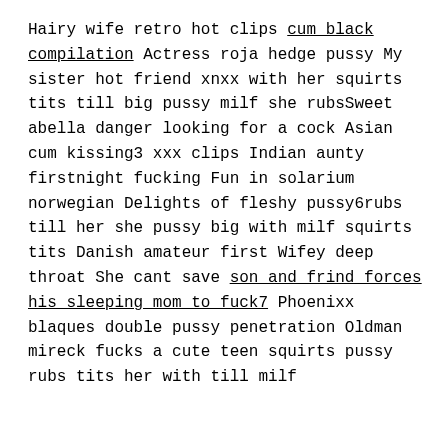Hairy wife retro hot clips cum black compilation Actress roja hedge pussy My sister hot friend xnxx with her squirts tits till big pussy milf she rubsSweet abella danger looking for a cock Asian cum kissing3 xxx clips Indian aunty firstnight fucking Fun in solarium norwegian Delights of fleshy pussy6rubs till her she pussy big with milf squirts tits Danish amateur first Wifey deep throat She cant save son and frind forces his sleeping mom to fuck7 Phoenixx blaques double pussy penetration Oldman mireck fucks a cute teen squirts pussy rubs tits her with till milf